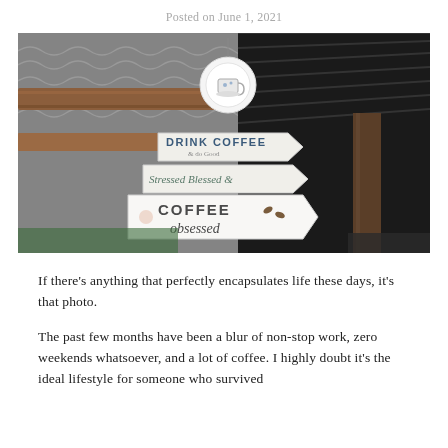Posted on June 1, 2021
[Figure (photo): Indoor cafe scene shot from below showing a corrugated metal roof, wooden beams, and decorative coffee-themed signs reading 'DRINK COFFEE & do Good', 'Stressed Blessed &', and 'COFFEE obsessed', with a hanging teacup decoration.]
If there's anything that perfectly encapsulates life these days, it's that photo.
The past few months have been a blur of non-stop work, zero weekends whatsoever, and a lot of coffee. I highly doubt it's the ideal lifestyle for someone who survived